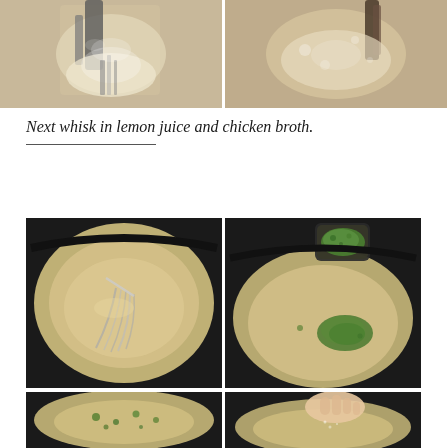[Figure (photo): Two side-by-side cooking photos showing liquid being poured into a bowl with a whisk, creating a bubbly mixture]
Next whisk in lemon juice and chicken broth.
[Figure (photo): Four cooking photos showing creamy sauce being whisked in a black pan and fresh chopped herbs (parsley) being added to the sauce]
[Figure (photo): Two cooking photos at the bottom showing the sauce with herbs incorporated and seasoning being added]